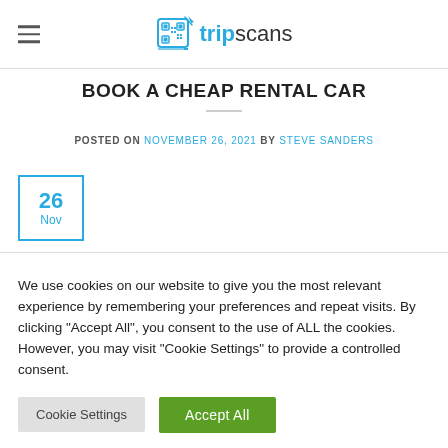tripscans
BOOK A CHEAP RENTAL CAR
POSTED ON NOVEMBER 26, 2021 BY STEVE SANDERS
26 Nov
We use cookies on our website to give you the most relevant experience by remembering your preferences and repeat visits. By clicking "Accept All", you consent to the use of ALL the cookies. However, you may visit "Cookie Settings" to provide a controlled consent.